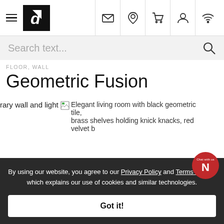Navigation bar with hamburger menu, logo, and icons for email, location, cart, account, wifi
Search text...
FLOOR, WALL
Geometric Fusion
rary wall and light
[Figure (photo): Broken image placeholder: Elegant living room with black geometric tile, brass shelves holding knick knacks, red velvet b...]
By using our website, you agree to our Privacy Policy and Terms of Use, which explains our use of cookies and similar technologies.
Got it!